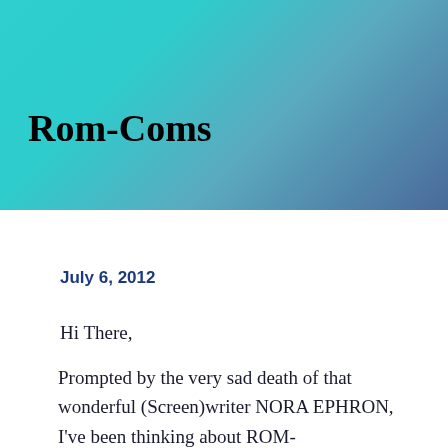[Figure (illustration): Teal to blue-grey gradient background banner serving as header image]
Rom-Coms
July 6, 2012
Hi There,
Prompted by the very sad death of that wonderful (Screen)writer NORA EPHRON, I've been thinking about ROM-